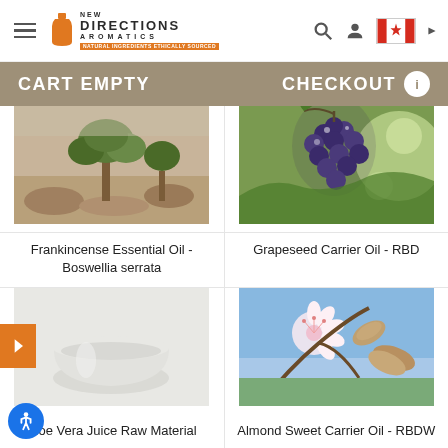[Figure (screenshot): New Directions Aromatics website header with logo, hamburger menu, search icon, user icon, and Canadian flag]
CART EMPTY   CHECKOUT
[Figure (photo): Frankincense tree in arid landscape]
Frankincense Essential Oil - Boswellia serrata
[Figure (photo): Dark purple grapes hanging on vine]
Grapeseed Carrier Oil - RBD
[Figure (photo): Clear liquid in a round glass container - Aloe Vera Juice]
Aloe Vera Juice Raw Material
[Figure (photo): Almond blossoms and almond pods on tree branch]
Almond Sweet Carrier Oil - RBDW